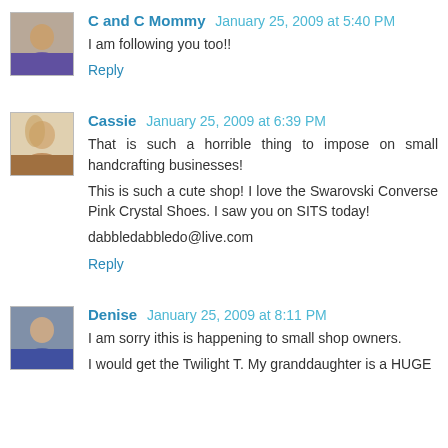C and C Mommy  January 25, 2009 at 5:40 PM
I am following you too!!
Reply
Cassie  January 25, 2009 at 6:39 PM
That is such a horrible thing to impose on small handcrafting businesses!
This is such a cute shop! I love the Swarovski Converse Pink Crystal Shoes. I saw you on SITS today!
dabbledabbledo@live.com
Reply
Denise  January 25, 2009 at 8:11 PM
I am sorry ithis is happening to small shop owners.
I would get the Twilight T. My granddaughter is a HUGE